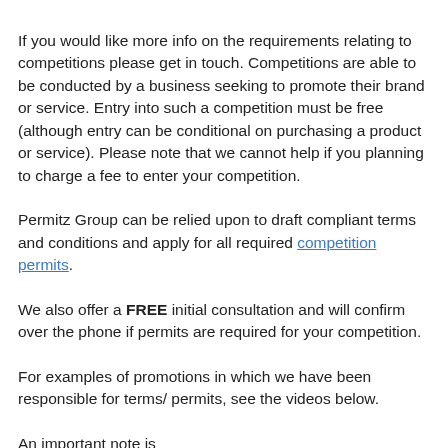If you would like more info on the requirements relating to competitions please get in touch. Competitions are able to be conducted by a business seeking to promote their brand or service. Entry into such a competition must be free (although entry can be conditional on purchasing a product or service). Please note that we cannot help if you planning to charge a fee to enter your competition.
Permitz Group can be relied upon to draft compliant terms and conditions and apply for all required competition permits.
We also offer a FREE initial consultation and will confirm over the phone if permits are required for your competition.
For examples of promotions in which we have been responsible for terms/ permits, see the videos below.
An important note is...